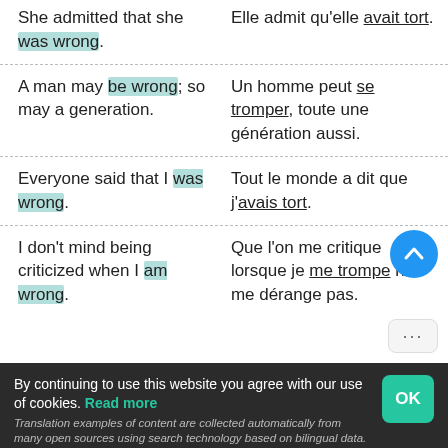She admitted that she was wrong. | Elle admit qu'elle avait tort.
A man may be wrong; so may a generation. | Un homme peut se tromper, toute une génération aussi.
Everyone said that I was wrong. | Tout le monde a dit que j'avais tort.
I don't mind being criticized when I am wrong. | Que l'on me critique lorsque je me trompe ne me dérange pas.
By continuing to use this website you agree with our use of cookies. Read more
Translation examples of content are collected automatically from many open sources using search technology based on bilingual data. If you find